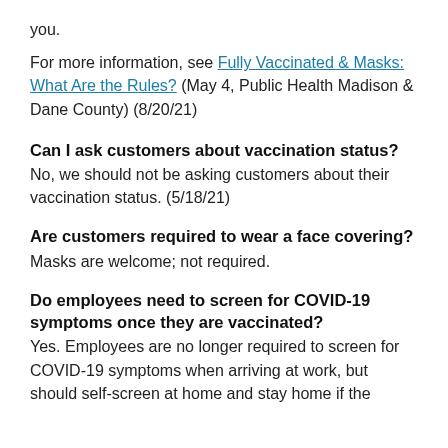you.
For more information, see Fully Vaccinated & Masks: What Are the Rules? (May 4, Public Health Madison & Dane County) (8/20/21)
Can I ask customers about vaccination status?
No, we should not be asking customers about their vaccination status. (5/18/21)
Are customers required to wear a face covering?
Masks are welcome; not required.
Do employees need to screen for COVID-19 symptoms once they are vaccinated?
Yes. Employees are no longer required to screen for COVID-19 symptoms when arriving at work, but should self-screen at home and stay home if the...